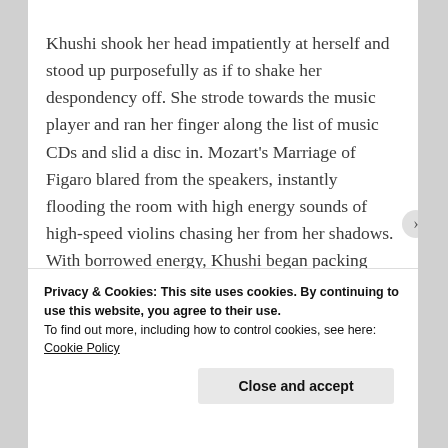Khushi shook her head impatiently at herself and stood up purposefully as if to shake her despondency off. She strode towards the music player and ran her finger along the list of music CDs and slid a disc in. Mozart's Marriage of Figaro blared from the speakers, instantly flooding the room with high energy sounds of high-speed violins chasing her from her shadows. With borrowed energy, Khushi began packing with
Privacy & Cookies: This site uses cookies. By continuing to use this website, you agree to their use.
To find out more, including how to control cookies, see here: Cookie Policy